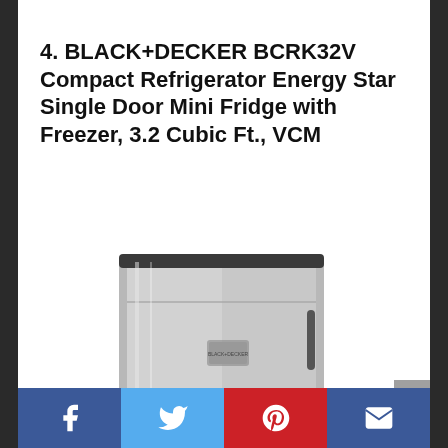4. BLACK+DECKER BCRK32V Compact Refrigerator Energy Star Single Door Mini Fridge with Freezer, 3.2 Cubic Ft., VCM
[Figure (photo): BLACK+DECKER BCRK32V compact mini refrigerator in stainless steel / VCM finish, single door with freezer compartment, shown at a slight angle]
Social share buttons: Facebook, Twitter, Pinterest, Email